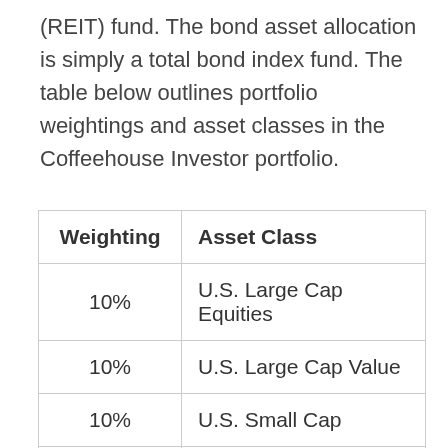(REIT) fund. The bond asset allocation is simply a total bond index fund. The table below outlines portfolio weightings and asset classes in the Coffeehouse Investor portfolio.
| Weighting | Asset Class |
| --- | --- |
| 10% | U.S. Large Cap Equities |
| 10% | U.S. Large Cap Value |
| 10% | U.S. Small Cap |
| 10% | U.S. Small Cap Growth |